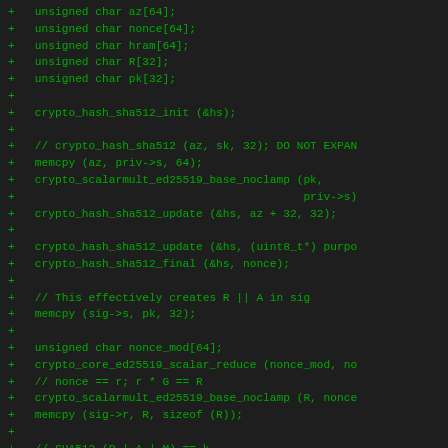[Figure (screenshot): Code diff showing C source code additions (marked with '+') implementing Ed25519 signing functionality including variable declarations, SHA512 hash operations, scalar multiplication, and memory copy operations. Green text on dark background.]